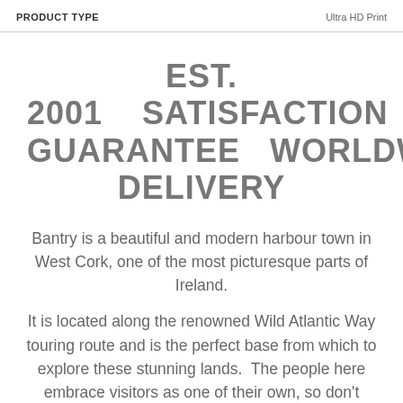PRODUCT TYPE | Ultra HD Print
EST. 2001   SATISFACTION GUARANTEE   WORLDWIDE DELIVERY
Bantry is a beautiful and modern harbour town in West Cork, one of the most picturesque parts of Ireland.
It is located along the renowned Wild Atlantic Way touring route and is the perfect base from which to explore these stunning lands.  The people here embrace visitors as one of their own, so don't